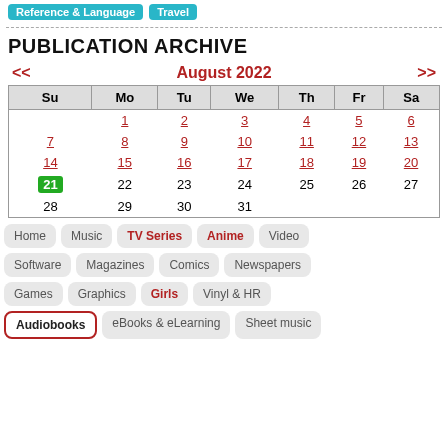Reference & Language  Travel
PUBLICATION ARCHIVE
[Figure (other): Calendar widget showing August 2022 with navigation arrows, day headers (Su Mo Tu We Th Fr Sa), dates 1-31, and date 21 highlighted in green as today.]
Home
Music
TV Series
Anime
Video
Software
Magazines
Comics
Newspapers
Games
Graphics
Girls
Vinyl & HR
Audiobooks
eBooks & eLearning
Sheet music